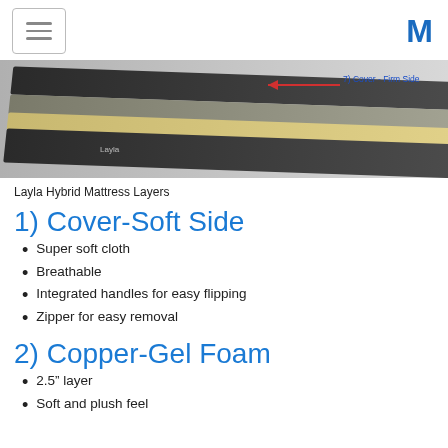[Figure (photo): Photo of Layla Hybrid Mattress layers stacked, with an arrow pointing to '7) Cover - Firm Side' label on the right side.]
Layla Hybrid Mattress Layers
1) Cover-Soft Side
Super soft cloth
Breathable
Integrated handles for easy flipping
Zipper for easy removal
2) Copper-Gel Foam
2.5” layer
Soft and plush feel